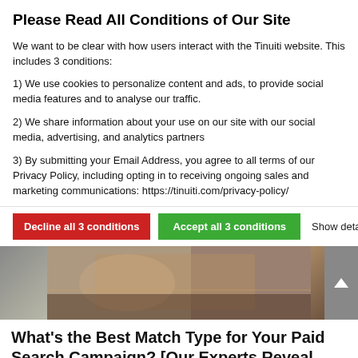Please Read All Conditions of Our Site
We want to be clear with how users interact with the Tinuiti website. This includes 3 conditions:
1) We use cookies to personalize content and ads, to provide social media features and to analyse our traffic.
2) We share information about your use on our site with our social media, advertising, and analytics partners
3) By submitting your Email Address, you agree to all terms of our Privacy Policy, including opting in to receiving ongoing sales and marketing communications: https://tinuiti.com/privacy-policy/
Decline all 3 conditions | Accept all 3 conditions | Show details
[Figure (photo): Blurred lifestyle/work photo background, person working at a desk]
What’s the Best Match Type for Your Paid Search Campaign? [Our Experts Reveal New Testing Data]